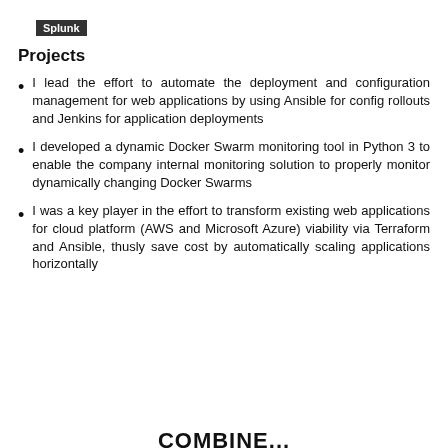Splunk
Projects
I lead the effort to automate the deployment and configuration management for web applications by using Ansible for config rollouts and Jenkins for application deployments
I developed a dynamic Docker Swarm monitoring tool in Python 3 to enable the company internal monitoring solution to properly monitor dynamically changing Docker Swarms
I was a key player in the effort to transform existing web applications for cloud platform (AWS and Microsoft Azure) viability via Terraform and Ansible, thusly save cost by automatically scaling applications horizontally
COMBINE...